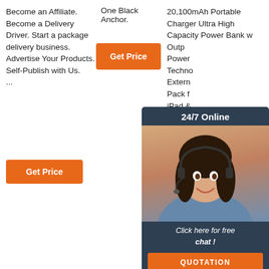Become an Affiliate. Become a Delivery Driver. Start a package delivery business. Advertise Your Products. Self-Publish with Us. ...
[Figure (other): Orange 'Get Price' button in column 2]
One Black Anchor.
20,100mAh Portable Charger Ultra High Capacity Power Bank w Output Power Technology External Pack for iPad & Galaxy (Black) Amazon FREE possible on eligible purchases
[Figure (other): Orange 'Get Price' button in column 1]
[Figure (other): Live chat widget overlay with agent photo, '24/7 Online' header, 'Click here for free chat!' text, and QUOTATION orange button]
[Figure (other): Orange 'Get Price' button in column 3 bottom, with TOP arrow icon]
[Figure (other): TOP scroll-to-top button with orange dots arrow and orange italic TOP text]